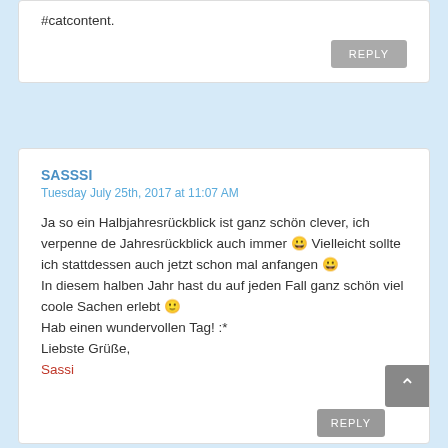#catcontent.
REPLY
SASSSI
Tuesday July 25th, 2017 at 11:07 AM
Ja so ein Halbjahresrückblick ist ganz schön clever, ich verpenne de Jahresrückblick auch immer 😀 Vielleicht sollte ich stattdessen auch jetzt schon mal anfangen 😀 In diesem halben Jahr hast du auf jeden Fall ganz schön viel coole Sachen erlebt 🙂 Hab einen wundervollen Tag! :* Liebste Grüße, Sassi
REPLY